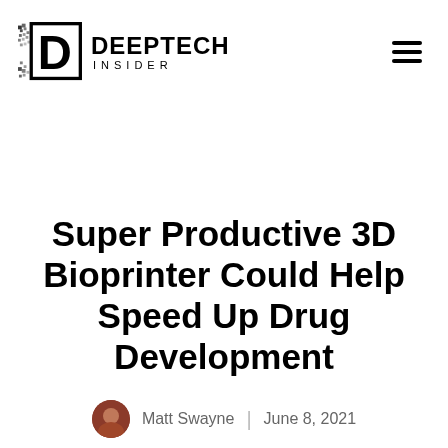[Figure (logo): DeepTech Insider logo with pixelated D icon and bold text DEEPTECH INSIDER]
Super Productive 3D Bioprinter Could Help Speed Up Drug Development
Matt Swayne | June 8, 2021